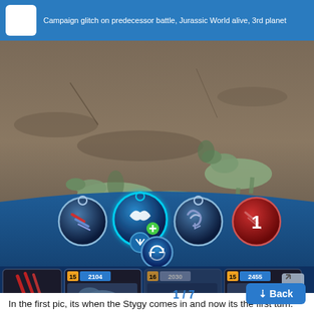Campaign glitch on predecessor battle, Jurassic World alive, 3rd planet
[Figure (screenshot): Jurassic World Alive game screenshot showing a battle scene. Two dinosaurs on rocky ground. Battle UI shows four move icons (one glowing blue with wings/speed move, one red with number 1), a swap button, and three dinosaur cards at bottom showing levels 15 (2104 HP), 16 (2030 HP, grayed out), and 15 (2455 HP). An expand button is visible in bottom right corner.]
In the first pic, its when the Stygy comes in and now its the first turn. The second pic is after the first move, whe... and stygy does nothing
I have noticed it happens frequently when creature gets knocked out and another on...
Back
1 / 7